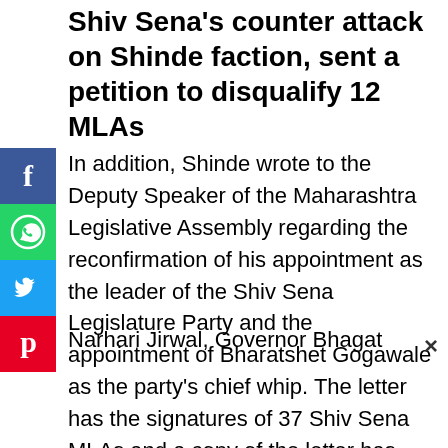Shiv Sena's counter attack on Shinde faction, sent a petition to disqualify 12 MLAs
In addition, Shinde wrote to the Deputy Speaker of the Maharashtra Legislative Assembly regarding the reconfirmation of his appointment as the leader of the Shiv Sena Legislature Party and the appointment of Bharatshet Gogawale as the party's chief whip. The letter has the signatures of 37 Shiv Sena MLAs and a copy of the letter has been sent to Deputy Speaker Narhari Jirwal, Governor Bhagat Singh Koshyari